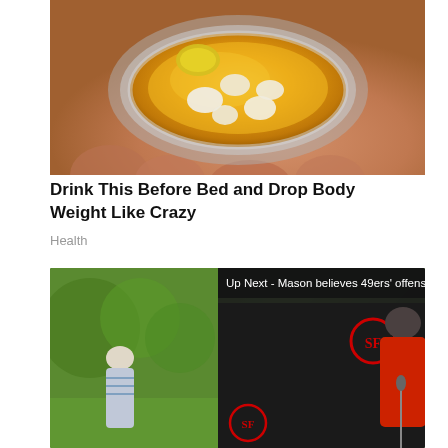[Figure (photo): A hand holding a metal spoon with honey and garlic/onion pieces, shown from above with golden amber honey visible]
Drink This Before Bed and Drop Body Weight Like Crazy
Health
[Figure (screenshot): A screenshot of a video player overlay showing 'Up Next - Mason believes 49ers' offens...' with a close button, ad label '1 of 1 (0:06)', a mute button icon, and a 49ers press conference with a player in red jersey. NBC Sports logo visible. Levi's branding visible.]